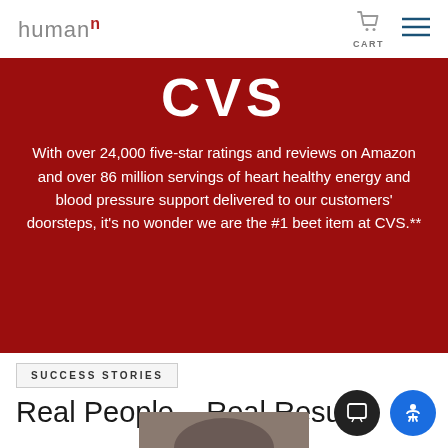huumannⁿ CART
CVS
With over 24,000 five-star ratings and reviews on Amazon and over 86 million servings of heart healthy energy and blood pressure support delivered to our customers’ doorsteps, it’s no wonder we are the #1 beet item at CVS.**
SUCCESS STORIES
Real People – Real Results
[Figure (photo): Partial photo of a person visible at the bottom of the page]